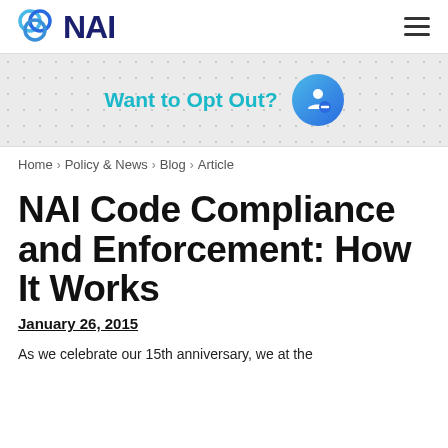NAI
Want to Opt Out?
Home › Policy & News › Blog › Article
NAI Code Compliance and Enforcement: How It Works
January 26, 2015
As we celebrate our 15th anniversary, we at the